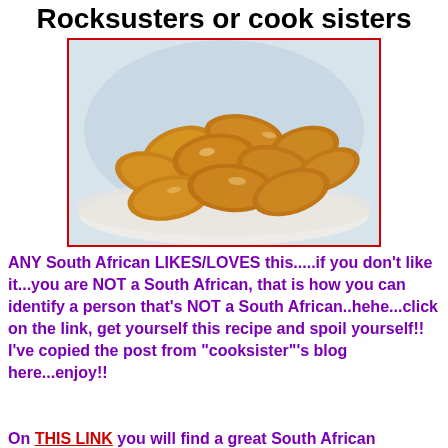Rocksusters or cook sisters
[Figure (photo): A plate piled with golden-brown koeksisters (South African fried dough pastries), glossy and syrup-coated, on a white plate against a light background.]
ANY South African LIKES/LOVES this.....if you don't like it...you are NOT a South African, that is how you can identify a person that's NOT a South African..hehe...click on the link, get yourself this recipe and spoil yourself!! I've copied the post from "cooksister"'s blog here...enjoy!!
On THIS LINK you will find a great South African traditional...